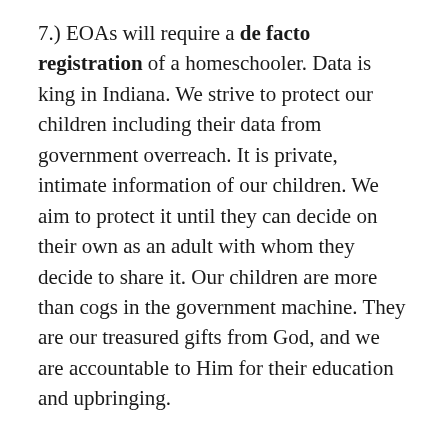7.) EOAs will require a de facto registration of a homeschooler. Data is king in Indiana. We strive to protect our children including their data from government overreach. It is private, intimate information of our children. We aim to protect it until they can decide on their own as an adult with whom they decide to share it. Our children are more than cogs in the government machine. They are our treasured gifts from God, and we are accountable to Him for their education and upbringing.
8.) Funds may only be used for qualified expenses. The State will decide what is